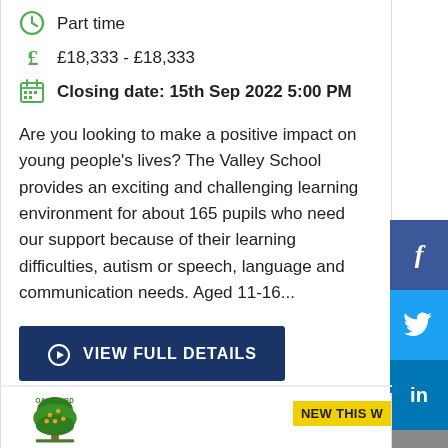Part time
£18,333 - £18,333
Closing date: 15th Sep 2022 5:00 PM
Are you looking to make a positive impact on young people's lives? The Valley School provides an exciting and challenging learning environment for about 165 pupils who need our support because of their learning difficulties, autism or speech, language and communication needs. Aged 11-16...
VIEW FULL DETAILS
[Figure (logo): Oakwood school logo - green tree with OAKWOOD text]
NEW THIS W